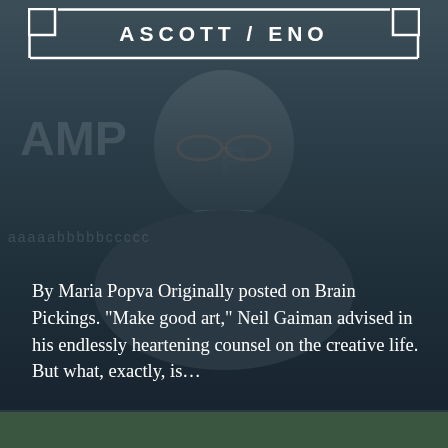[Figure (photo): Dark background showing a man's face and upper body against a chalkboard with text/letters visible. The image has a dark blue-grey tone.]
ASCOTT / ENO
By Maria Popva Originally posted on Brain Pickings. “Make good art,” Neil Gaiman advised in his endlessly heartening counsel on the creative life. But what, exactly, is…
READ MORE